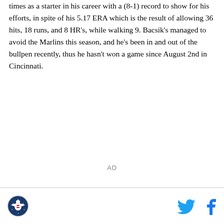times as a starter in his career with a (8-1) record to show for his efforts, in spite of his 5.17 ERA which is the result of allowing 36 hits, 18 runs, and 8 HR's, while walking 9. Bacsik's managed to avoid the Marlins this season, and he's been in and out of the bullpen recently, thus he hasn't won a game since August 2nd in Cincinnati.
AD
[Figure (logo): Circular logo with an eagle/patriotic emblem, red white and blue]